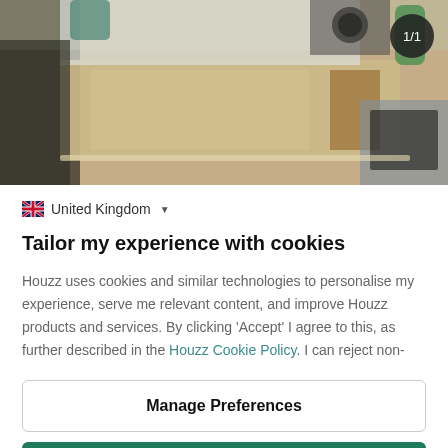[Figure (photo): Kitchen countertop scene showing beige laminate surface, sink area, and kitchen items in background]
United Kingdom ▾
Tailor my experience with cookies
Houzz uses cookies and similar technologies to personalise my experience, serve me relevant content, and improve Houzz products and services. By clicking 'Accept' I agree to this, as further described in the Houzz Cookie Policy. I can reject non-
Manage Preferences
Accept